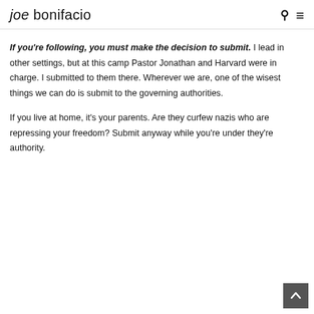joe bonifacio
If you're following, you must make the decision to submit. I lead in other settings, but at this camp Pastor Jonathan and Harvard were in charge. I submitted to them there. Wherever we are, one of the wisest things we can do is submit to the governing authorities.
If you live at home, it's your parents. Are they curfew nazis who are repressing your freedom? Submit anyway while you're under they're authority.